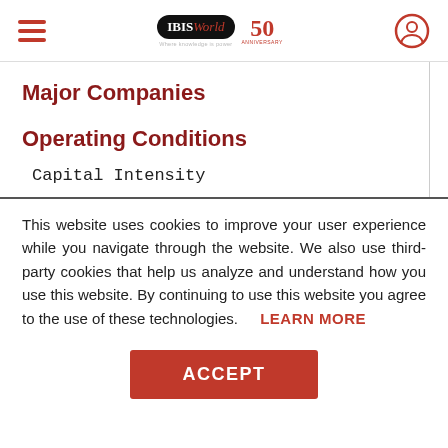IBISWorld 50th Anniversary
Major Companies
Operating Conditions
Capital Intensity
This website uses cookies to improve your user experience while you navigate through the website. We also use third-party cookies that help us analyze and understand how you use this website. By continuing to use this website you agree to the use of these technologies.
LEARN MORE
ACCEPT